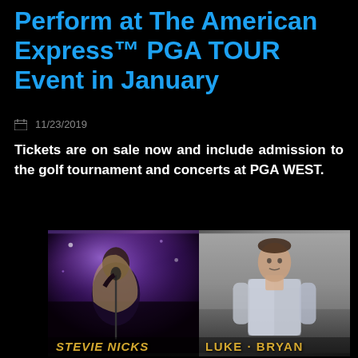Perform at The American Express™ PGA TOUR Event in January
11/23/2019
Tickets are on sale now and include admission to the golf tournament and concerts at PGA WEST.
[Figure (photo): Two concert/artist photos side by side. Left: Stevie Nicks performing on stage with microphone, with purple and dark stage lighting. Right: Luke Bryan posed in a denim jacket against a grey background. Both have gold text labels at the bottom identifying the artists.]